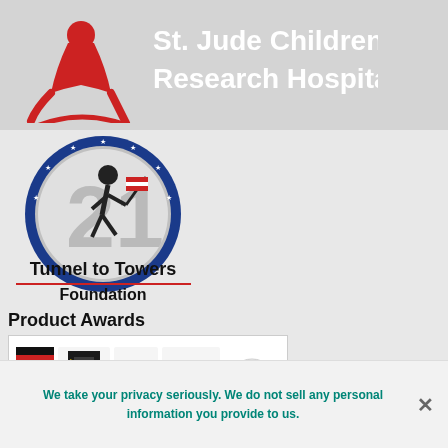[Figure (logo): St. Jude Children's Research Hospital logo with red child figure and text]
[Figure (logo): Tunnel to Towers Foundation logo with figure holding American flag and number 21]
Product Awards
[Figure (logo): Product awards image showing multiple badges: Hailo, German Brand Award 21 Winner, Digital Champions Award 2021, German Innovation Award Gold, Ecovadis 2021, Rat fur Formgebung German Design Council]
[Figure (logo): Partial icons visible at bottom - circular logo with house icon and dark circular logo]
We take your privacy seriously. We do not sell any personal information you provide to us.